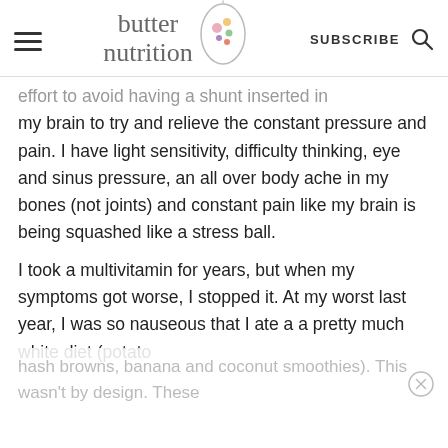butter nutrition — SUBSCRIBE
effort to avoid having a shunt inserted in my brain to try and relieve the constant pressure and pain. I have light sensitivity, difficulty thinking, eye and sinus pressure, an all over body ache in my bones (not joints) and constant pain like my brain is being squashed like a stress ball.
I took a multivitamin for years, but when my symptoms got worse, I stopped it. At my worst last year, I was so nauseous that I ate a a pretty much white diet (potato hash browns, banana and coconut smoothies). This wasn't by design. These